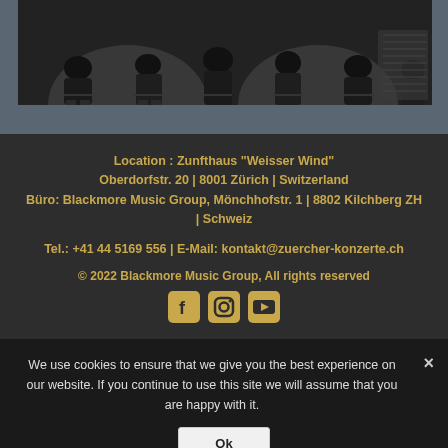[Figure (photo): Partial view of musicians or audience sitting in chairs, dark background, upper portion cropped]
Location : Zunfthaus "Weisser Wind"
Oberdorfstr. 20 | 8001 Zürich | Switzerland
Büro: Blackmore Music Group, Mönchhofstr. 1 | 8802 Kilchberg ZH | Schweiz
Tel.: +41 44 5169 556 | E-Mail: kontakt@zuercher-konzerte.ch
© 2022 Blackmore Music Group, All rights reserved
[Figure (other): Social media icons: Facebook, Instagram, YouTube]
We use cookies to ensure that we give you the best experience on our website. If you continue to use this site we will assume that you are happy with it.